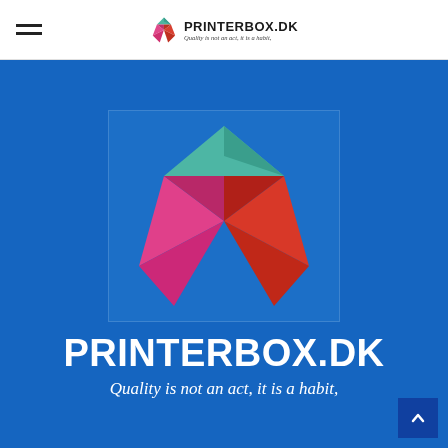PRINTERBOX.DK — Quality is not an act, it is a habit,
[Figure (logo): Printerbox.dk geometric hexagon-diamond logo made of teal, pink/magenta, and red/orange triangular facets on a blue background]
PRINTERBOX.DK
Quality is not an act, it is a habit,